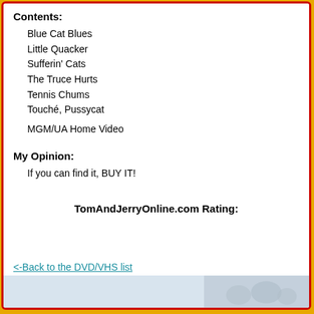Contents:
Blue Cat Blues
Little Quacker
Sufferin' Cats
The Truce Hurts
Tennis Chums
Touché, Pussycat
MGM/UA Home Video
My Opinion:
If you can find it, BUY IT!
TomAndJerryOnline.com Rating:
<-Back to the DVD/VHS list